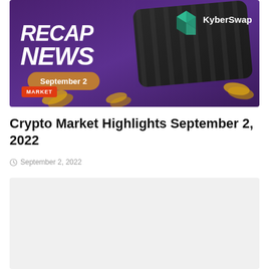[Figure (illustration): Crypto market recap news banner for September 2 featuring KyberSwap branding, crypto coins on a purple/dark background with bold white italic text 'RECAP NEWS' and a rounded pill button showing 'September 2'. A MARKET tag label in red is overlaid at the bottom left.]
Crypto Market Highlights September 2, 2022
September 2, 2022
[Figure (other): Light grey placeholder rectangle representing embedded article content or advertisement]